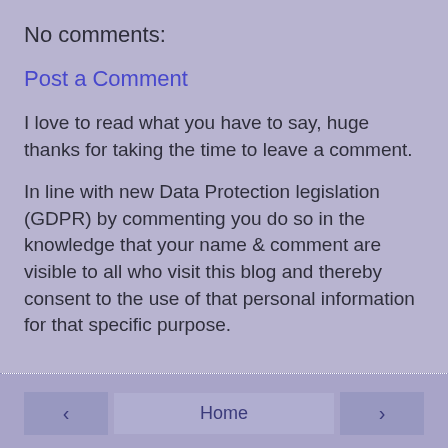No comments:
Post a Comment
I love to read what you have to say, huge thanks for taking the time to leave a comment.
In line with new Data Protection legislation (GDPR) by commenting you do so in the knowledge that your name & comment are visible to all who visit this blog and thereby consent to the use of that personal information for that specific purpose.
Home
View web version
About Me
Jane